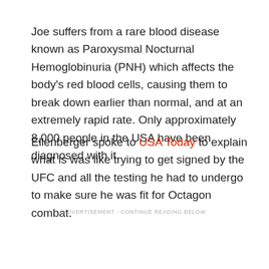Joe suffers from a rare blood disease known as Paroxysmal Nocturnal Hemoglobinuria (PNH) which affects the body's red blood cells, causing them to break down earlier than normal, and at an extremely rapid rate. Only approximately 8,000 people in the USA have been diagnosed with it.
Ellenberger spoke to USA Today to explain what is was like trying to get signed by the UFC and all the testing he had to undergo to make sure he was fit for Octagon combat.
ADVERTISEMENT - CONTINUE READING BELOW